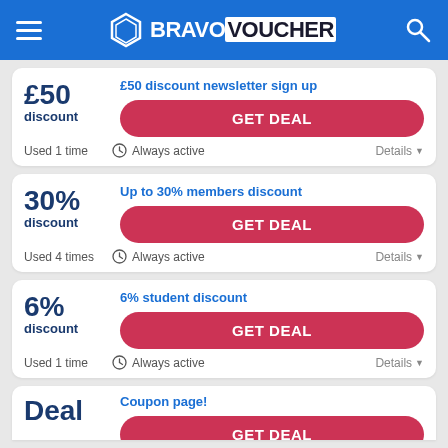BRAVOVOUCHER
£50 discount newsletter sign up
£50 discount
GET DEAL
Used 1 time   Always active   Details
Up to 30% members discount
30% discount
GET DEAL
Used 4 times   Always active   Details
6% student discount
6% discount
GET DEAL
Used 1 time   Always active   Details
Coupon page!
Deal